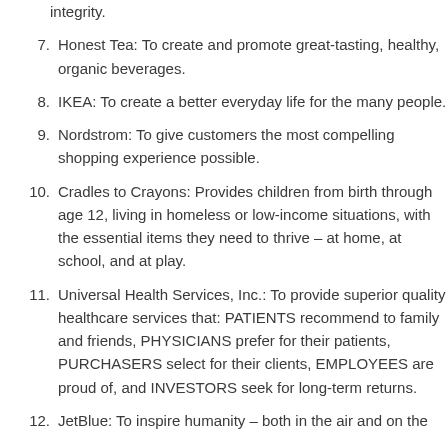integrity.
Honest Tea: To create and promote great-tasting, healthy, organic beverages.
IKEA: To create a better everyday life for the many people.
Nordstrom: To give customers the most compelling shopping experience possible.
Cradles to Crayons: Provides children from birth through age 12, living in homeless or low-income situations, with the essential items they need to thrive – at home, at school, and at play.
Universal Health Services, Inc.: To provide superior quality healthcare services that: PATIENTS recommend to family and friends, PHYSICIANS prefer for their patients, PURCHASERS select for their clients, EMPLOYEES are proud of, and INVESTORS seek for long-term returns.
JetBlue: To inspire humanity – both in the air and on the